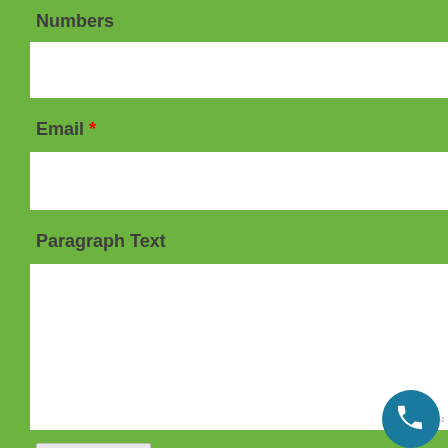Numbers
[Figure (screenshot): Empty text input field for Numbers]
Email *
[Figure (screenshot): Empty text input field for Email]
Paragraph Text
[Figure (screenshot): Empty textarea input field for Paragraph Text]
[Figure (screenshot): Submit button]
[Figure (screenshot): Phone call floating action button]